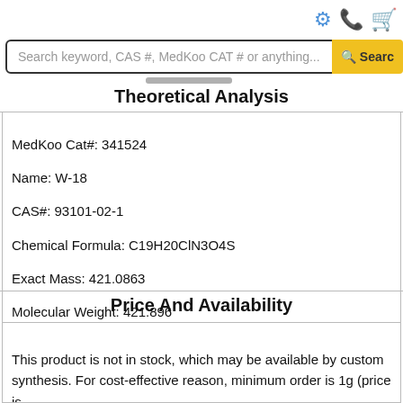Search keyword, CAS #, MedKoo CAT # or anything...
Theoretical Analysis
MedKoo Cat#: 341524
Name: W-18
CAS#: 93101-02-1
Chemical Formula: C19H20ClN3O4S
Exact Mass: 421.0863
Molecular Weight: 421.896
Elemental Analysis: C, 54.09; H, 4.78; Cl, 8.40; N, 9.96; O, 15.17; S, 7.60
Price And Availability
This product is not in stock, which may be available by custom synthesis. For cost-effective reason, minimum order is 1g (price is